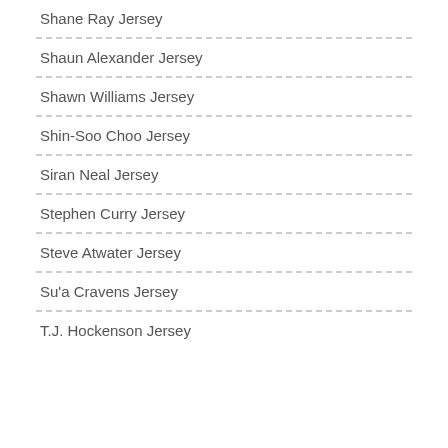Shane Ray Jersey
Shaun Alexander Jersey
Shawn Williams Jersey
Shin-Soo Choo Jersey
Siran Neal Jersey
Stephen Curry Jersey
Steve Atwater Jersey
Su'a Cravens Jersey
T.J. Hockenson Jersey